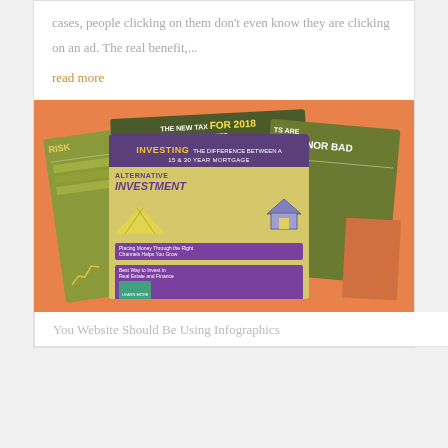cases, people clicking on them don't even know they are clicking on an ad. The real benefit,...
read more
[Figure (infographic): A collage of financial infographics on an orange background. The front infographic reads 'INVESTING THE DIFFERENCE BETWEEN A 15 & 30 YEAR MORTGAGE' with a sub-section titled 'ALTERNATIVE INVESTMENT' showing a house graphic and converging lines. Behind it are other infographics including 'THE NEW TAX BRACKETS FOR 2018' and one about 'RISK' and another mentioning 'GOOD NOR BAD'.]
You Website Should Be Using Infographics